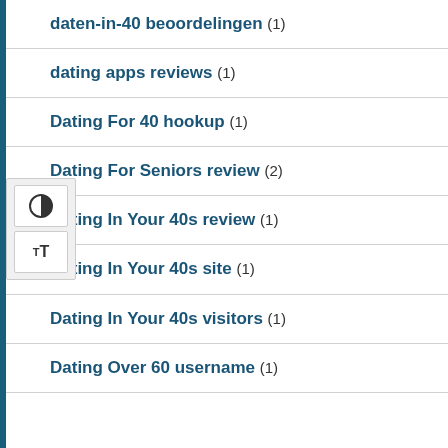daten-in-40 beoordelingen (1)
dating apps reviews (1)
Dating For 40 hookup (1)
Dating For Seniors review (2)
Dating In Your 40s review (1)
Dating In Your 40s site (1)
Dating In Your 40s visitors (1)
Dating Over 60 username (1)